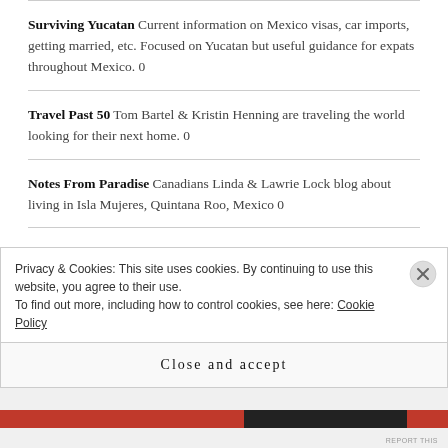Surviving Yucatan Current information on Mexico visas, car imports, getting married, etc. Focused on Yucatan but useful guidance for expats throughout Mexico. 0
Travel Past 50 Tom Bartel & Kristin Henning are traveling the world looking for their next home. 0
Notes From Paradise Canadians Linda & Lawrie Lock blog about living in Isla Mujeres, Quintana Roo, Mexico 0
Puerto Vallarta Scene English language news and information about Puerto Vallarta. 0
Spanish Por Favor Guide to immersion language schools in
Privacy & Cookies: This site uses cookies. By continuing to use this website, you agree to their use.
To find out more, including how to control cookies, see here: Cookie Policy
Close and accept